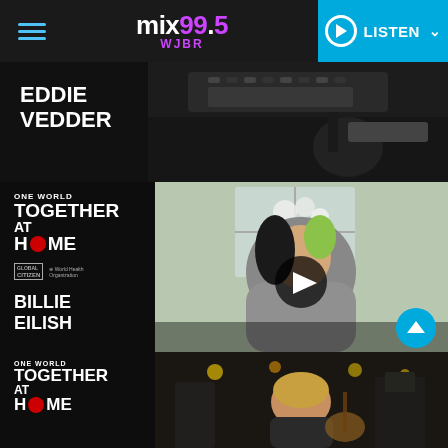mix99.5 WJBR – LISTEN
[Figure (screenshot): Screenshot of mix99.5 WJBR radio website showing artists Eddie Vedder and Billie Eilish from the 'One World Together At Home' concert event. Top section shows Eddie Vedder name with a dark studio background photo. Middle section shows the 'One World Together At Home' logo with Global Citizen and World Health Organization sponsors, a video thumbnail of Billie Eilish with play button, and her name. Bottom section shows another 'One World Together At Home' segment with a photo of a male artist in what appears to be a studio. A scroll-to-top button appears on the right.]